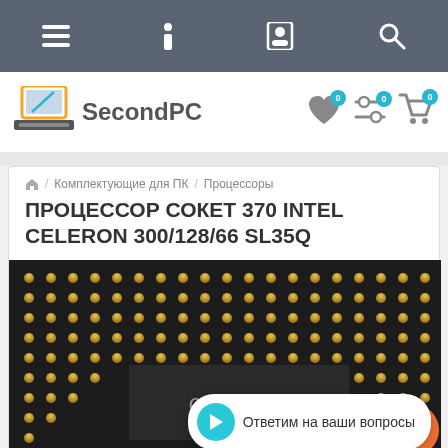Navigation bar with menu, info, profile, and search icons
[Figure (logo): SecondPC logo with laptop icon]
Комплектующие для ПК / Процессоры
ПРОЦЕССОР СОКЕТ 370 INTEL CELERON 300/128/66 SL35Q
[Figure (photo): Close-up photo of Intel Celeron processor bottom showing gold pins and chip label]
Ответим на ваши вопросы